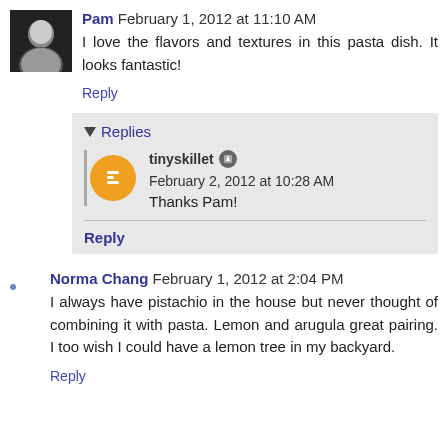[Figure (photo): Profile photo of Pam, a woman with dark hair]
Pam February 1, 2012 at 11:10 AM
I love the flavors and textures in this pasta dish. It looks fantastic!
Reply
Replies
[Figure (logo): Blogger orange circle icon]
tinyskillet February 2, 2012 at 10:28 AM
Thanks Pam!
Reply
[Figure (illustration): Small blue dot avatar placeholder]
Norma Chang February 1, 2012 at 2:04 PM
I always have pistachio in the house but never thought of combining it with pasta. Lemon and arugula great pairing. I too wish I could have a lemon tree in my backyard.
Reply